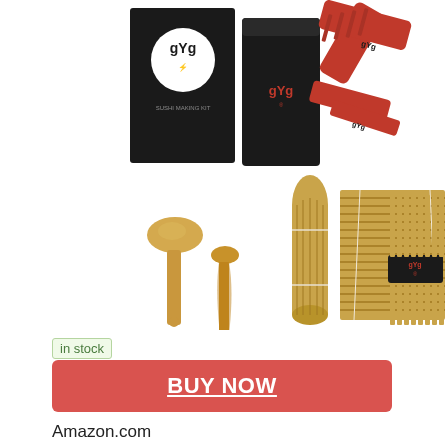[Figure (photo): Product photo of GYa sushi making kit showing: black box packaging with GYa logo and white circular emblem, black pouch bag with GYa branding, red sushi bazooka/roller tool set (two red plastic cylinder tools), two bamboo wooden spoons/spatulas, two bamboo rolling mats laid flat, a black-bladed chef's knife with black handle, and a bundle of bamboo chopsticks held together with a black GYa branded band]
in stock
BUY NOW
Amazon.com